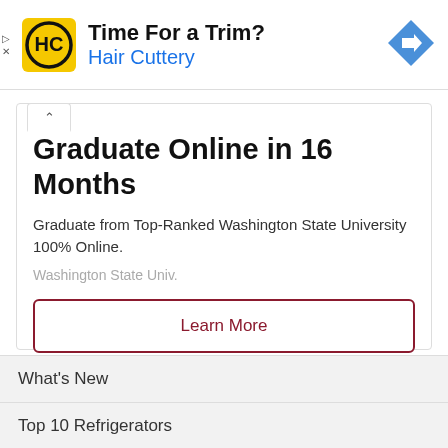[Figure (logo): Hair Cuttery advertisement banner with HC logo, text 'Time For a Trim? Hair Cuttery', and a blue navigation arrow icon]
Graduate Online in 16 Months
Graduate from Top-Ranked Washington State University 100% Online.
Washington State Univ.
Learn More
What's New
Top 10 Refrigerators